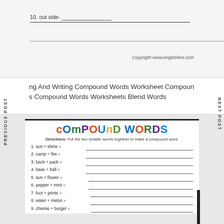10. out side-
Copyright www.englishlinx.com
ng And Writing Compound Words Worksheet Compound Words Compound Words Worksheets Blend Words
PREVIOUS POST
NEXT POST
[Figure (illustration): Compound Words worksheet preview showing colorful title 'COMPOUND WORDS' with directions and fill-in exercises: 1. sun + shine, 2. camp + fire, 3. back + pack, 4. base + ball, 5. sun + flower, 6. pepper + mint, 7. foot + prints, 8. water + melon, 9. cheese + burger]
1. sun + shine =
2. camp + fire =
3. back + pack =
4. base + ball =
5. sun + flower =
6. pepper + mint =
7. foot + prints =
8. water + melon =
9. cheese + burger =